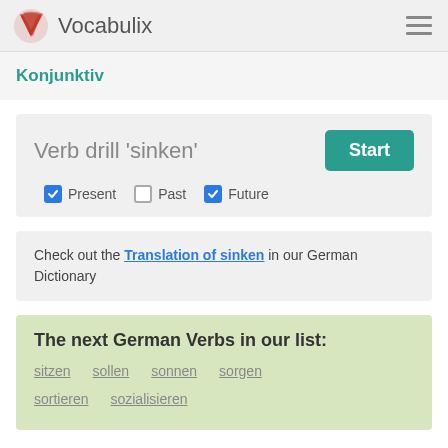Vocabulix
Konjunktiv
Verb drill 'sinken'
Present (checked), Past (unchecked), Future (checked)
Check out the Translation of sinken in our German Dictionary
The next German Verbs in our list:
sitzen
sollen
sonnen
sorgen
sortieren
sozialisieren